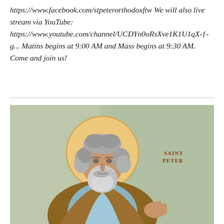https://www.facebook.com/stpeterorthodoxftw We will also live stream via YouTube: https://www.youtube.com/channel/UCDYn0oRsXve1K1U1qX-ƒ-g... Matins begins at 9:00 AM and Mass begins at 9:30 AM. Come and join us!
[Figure (photo): Orthodox icon of Saint Peter (SAINT PETER label in upper right), depicting a bearded elderly man with gray hair and a golden halo, wearing brown and blue robes, against a green-gray background.]